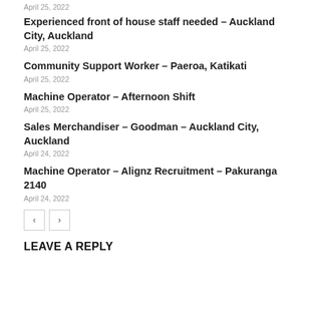April 25, 2022
Experienced front of house staff needed – Auckland City, Auckland
April 25, 2022
Community Support Worker – Paeroa, Katikati
April 25, 2022
Machine Operator – Afternoon Shift
April 25, 2022
Sales Merchandiser – Goodman – Auckland City, Auckland
April 24, 2022
Machine Operator – Alignz Recruitment – Pakuranga 2140
April 24, 2022
LEAVE A REPLY